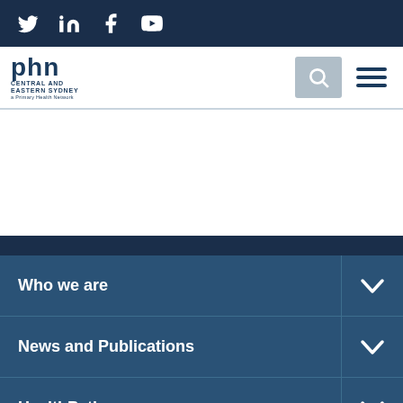Social media icons: Twitter, LinkedIn, Facebook, YouTube
[Figure (logo): PHN Central and Eastern Sydney logo with search and hamburger menu icons]
Who we are
News and Publications
HealthPathways
Contact us